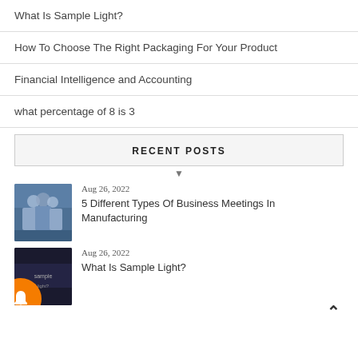What Is Sample Light?
How To Choose The Right Packaging For Your Product
Financial Intelligence and Accounting
what percentage of 8 is 3
RECENT POSTS
Aug 26, 2022
5 Different Types Of Business Meetings In Manufacturing
Aug 26, 2022
What Is Sample Light?